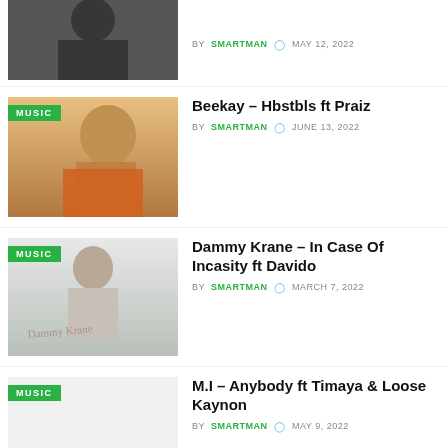[Figure (photo): Partial cropped photo of a person in black and white, top of page]
BY SMARTMAN  MAY 12, 2022
[Figure (photo): Photo of a man in orange shirt, MUSIC badge overlay]
Beekay – Hbstbls ft Praiz
BY SMARTMAN  JUNE 13, 2022
[Figure (photo): Dammy Krane album art with MUSIC badge]
Dammy Krane – In Case Of Incasity ft Davido
BY SMARTMAN  MARCH 7, 2022
[Figure (photo): Light gray placeholder image with MUSIC badge]
M.I – Anybody ft Timaya & Loose Kaynon
BY SMARTMAN  MAY 9, 2022